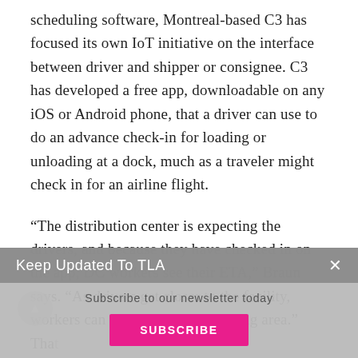scheduling software, Montreal-based C3 has focused its own IoT initiative on the interface between driver and shipper or consignee. C3 has developed a free app, downloadable on any iOS or Android phone, that a driver can use to do an advance check-in for loading or unloading at a dock, much as a traveler might check in for an airline flight.
“The distribution center is expecting the drivers, and because they have checked in on the app, DC workers see their ETA,” Braun says. “As drivers get closer to the facility, workers can pre-allocate the parking area.” Tha[t technology also helps manage the] yard.
Most like[ly ...] informati[on ...] similar to airport security—the security guard at the
[Figure (screenshot): A modal popup dialog titled 'Keep Updated To TLA' with a subtitle 'Subscribe to our newsletter today' and a pink SUBSCRIBE button. The modal has a grey header with a close (x) button and a lighter grey body area.]